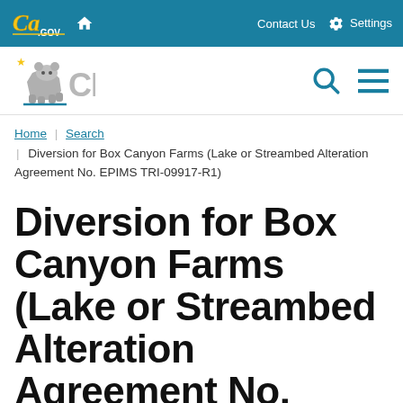CA.GOV | Home | Contact Us | Settings
[Figure (logo): CEQA California logo with bear and star, search and menu icons]
Home | Search | Diversion for Box Canyon Farms (Lake or Streambed Alteration Agreement No. EPIMS TRI-09917-R1)
Diversion for Box Canyon Farms (Lake or Streambed Alteration Agreement No.